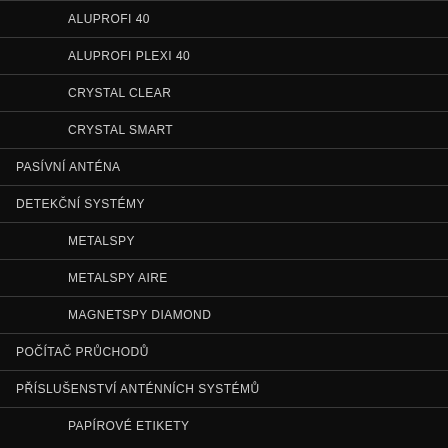ALUPROFI 40
ALUPROFI PLEXI 40
CRYSTAL CLEAR
CRYSTAL SMART
PASÍVNÍ ANTÉNA
DETEKČNÍ SYSTÉMY
METALSPY
METALSPY AIRE
MAGNETSPY DIAMOND
POČÍTAČ PRŮCHODŮ
PŘÍSLUŠENSTVÍ ANTÉNNÍCH SYSTÉMŮ
PAPÍROVÉ ETIKETY